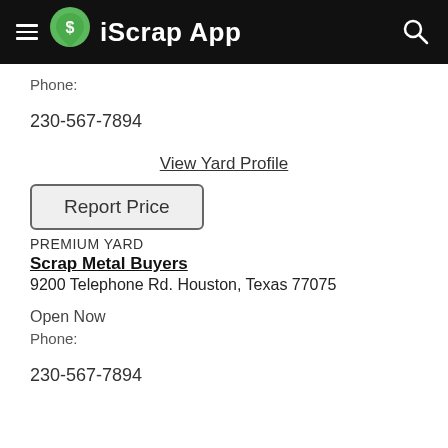iScrap App
Phone:
230-567-7894
View Yard Profile
Report Price
PREMIUM YARD
Scrap Metal Buyers
9200 Telephone Rd. Houston, Texas 77075
Open Now
Phone:
230-567-7894